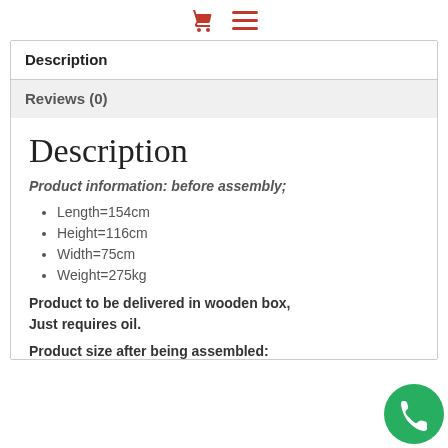[shopping cart icon] [hamburger menu icon]
Description
Reviews (0)
Description
Product information: before assembly;
Length=154cm
Height=116cm
Width=75cm
Weight=275kg
Product to be delivered in wooden box, Just requires oil.
Product size after being assembled: